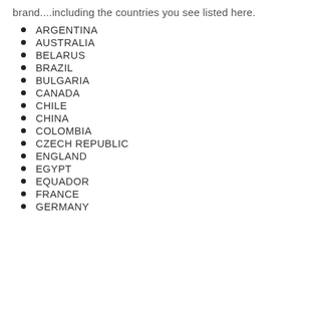brand....including the countries you see listed here.
ARGENTINA
AUSTRALIA
BELARUS
BRAZIL
BULGARIA
CANADA
CHILE
CHINA
COLOMBIA
CZECH REPUBLIC
ENGLAND
EGYPT
EQUADOR
FRANCE
GERMANY